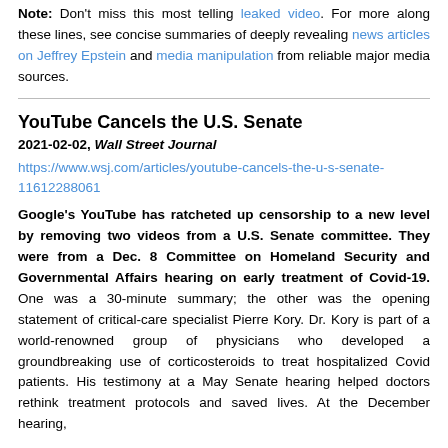Note: Don't miss this most telling leaked video. For more along these lines, see concise summaries of deeply revealing news articles on Jeffrey Epstein and media manipulation from reliable major media sources.
YouTube Cancels the U.S. Senate
2021-02-02, Wall Street Journal
https://www.wsj.com/articles/youtube-cancels-the-u-s-senate-11612288061
Google's YouTube has ratcheted up censorship to a new level by removing two videos from a U.S. Senate committee. They were from a Dec. 8 Committee on Homeland Security and Governmental Affairs hearing on early treatment of Covid-19. One was a 30-minute summary; the other was the opening statement of critical-care specialist Pierre Kory. Dr. Kory is part of a world-renowned group of physicians who developed a groundbreaking use of corticosteroids to treat hospitalized Covid patients. His testimony at a May Senate hearing helped doctors rethink treatment protocols and saved lives. At the December hearing,